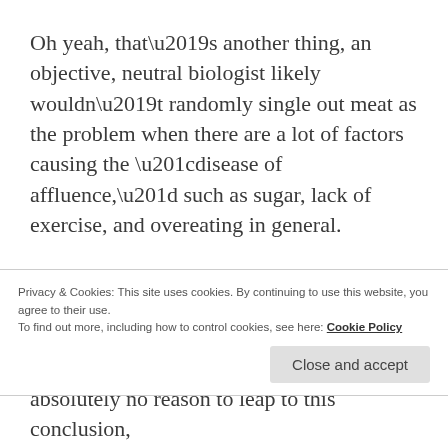Oh yeah, that’s another thing, an objective, neutral biologist likely wouldn’t randomly single out meat as the problem when there are a lot of factors causing the “disease of affluence,” such as sugar, lack of exercise, and overeating in general.
“Meat in other great apes has long been used by lower status males as currency for sex. Perhaps the consumption of meat is linked to a mating ritual?”
Privacy & Cookies: This site uses cookies. By continuing to use this website, you agree to their use.
To find out more, including how to control cookies, see here: Cookie Policy
absolutely no reason to leap to this conclusion,